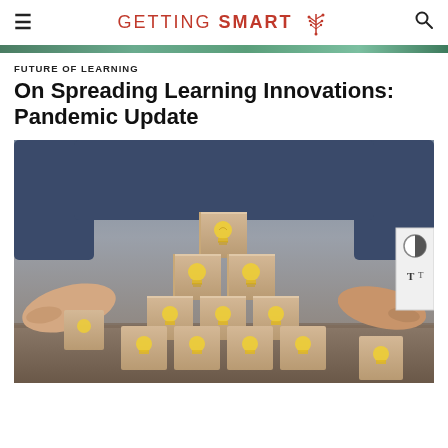GETTING SMART
[Figure (photo): Decorative image strip showing wooden blocks with lightbulb icons arranged in a pyramid pattern]
FUTURE OF LEARNING
On Spreading Learning Innovations: Pandemic Update
[Figure (photo): Person arranging wooden blocks with lightbulb icons printed on them, stacked in a pyramid arrangement on a wooden surface]